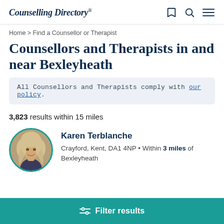Counselling Directory
Home > Find a Counsellor or Therapist
Counsellors and Therapists in and near Bexleyheath
All Counsellors and Therapists comply with our policy.
3,823 results within 15 miles
[Figure (photo): Circular profile photo of Karen Terblanche, a woman with light hair, with a teal border]
Karen Terblanche
Crayford, Kent, DA1 4NP • Within 3 miles of Bexleyheath
Filter results